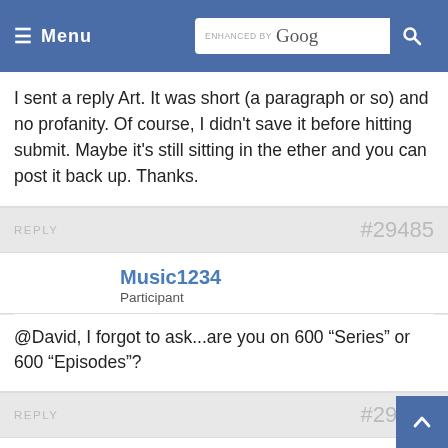Menu | ENHANCED BY Google [search]
I sent a reply Art. It was short (a paragraph or so) and no profanity. Of course, I didn't save it before hitting submit. Maybe it's still sitting in the ether and you can post it back up. Thanks.
REPLY  #29485
Music1234
Participant
@David, I forgot to ask...are you on 600 “Series” or 600 “Episodes”?
REPLY  #29486
LAwriter
Participant